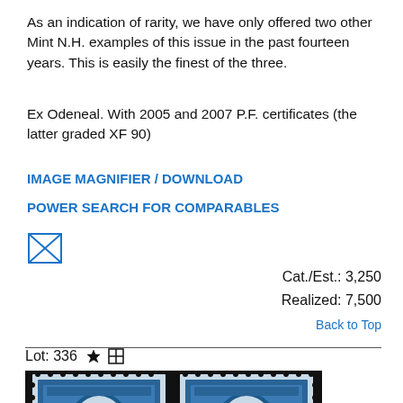As an indication of rarity, we have only offered two other Mint N.H. examples of this issue in the past fourteen years. This is easily the finest of the three.
Ex Odeneal. With 2005 and 2007 P.F. certificates (the latter graded XF 90)
IMAGE MAGNIFIER / DOWNLOAD
POWER SEARCH FOR COMPARABLES
[Figure (other): Envelope/mail icon (small square with X diagonal lines inside)]
Cat./Est.: 3,250
Realized: 7,500
Back to Top
Lot: 336
[Figure (photo): Two blue US postage stamps featuring a portrait of a founding father (Washington or Madison), side by side with perforations visible, black background around the stamps.]